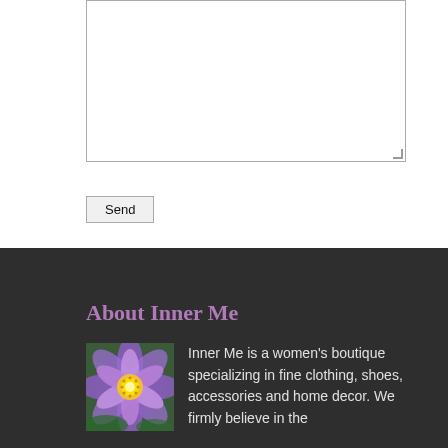[Figure (other): Empty textarea input field with resize handle in bottom-right corner]
Send
About Inner Me
[Figure (photo): Purple lotus flower with yellow center, close-up photo]
Inner Me is a women's boutique specializing in fine clothing, shoes, accessories and home decor. We firmly believe in the